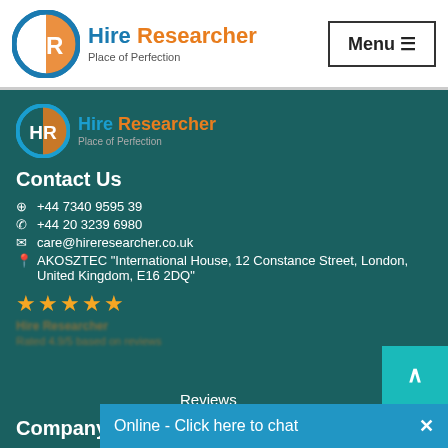[Figure (logo): Hire Researcher logo with HR circular icon and text 'Hire Researcher Place of Perfection' in header]
Menu ☰
[Figure (logo): Hire Researcher logo with HR circular icon and text 'Hire Researcher Place of Perfection' in dark footer section]
Contact Us
⊕ +44 7340 9595 39
✆ +44 20 3239 6980
✉ care@hireresearcher.co.uk
📍 AKOSZTEC "International House, 12 Constance Street, London, United Kingdom, E16 2DQ"
[Figure (other): Five gold star rating]
Reviews
Company
Home
Online - Click here to chat